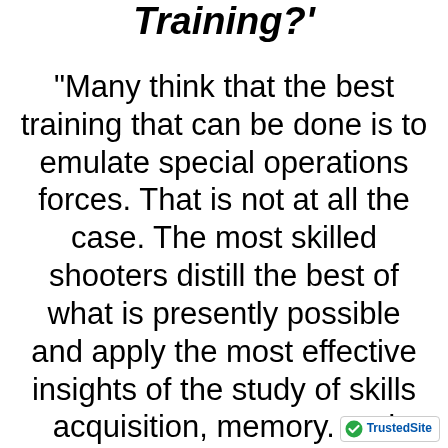Training?'
"Many think that the best training that can be done is to emulate special operations forces. That is not at all the case. The most skilled shooters distill the best of what is presently possible and apply the most effective insights of the study of skills acquisition, memory. and retention to learn to learn better and fast...
[Figure (logo): TrustedSite badge with green checkmark and text 'TrustedSite']